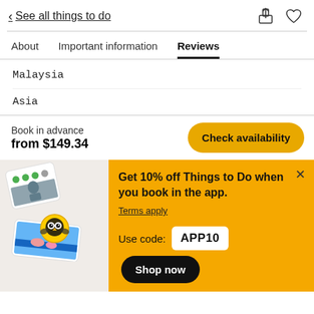< See all things to do
About  Important information  Reviews
Malaysia
Asia
Book in advance
from $149.34
Check availability
Get 10% off Things to Do when you book in the app.
Terms apply
Use code: APP10
Shop now